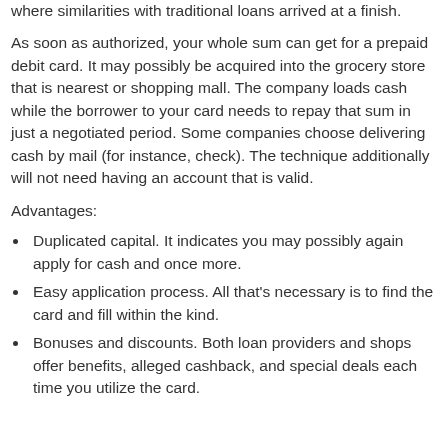where similarities with traditional loans arrived at a finish.
As soon as authorized, your whole sum can get for a prepaid debit card. It may possibly be acquired into the grocery store that is nearest or shopping mall. The company loads cash while the borrower to your card needs to repay that sum in just a negotiated period. Some companies choose delivering cash by mail (for instance, check). The technique additionally will not need having an account that is valid.
Advantages:
Duplicated capital. It indicates you may possibly again apply for cash and once more.
Easy application process. All that's necessary is to find the card and fill within the kind.
Bonuses and discounts. Both loan providers and shops offer benefits, alleged cashback, and special deals each time you utilize the card.